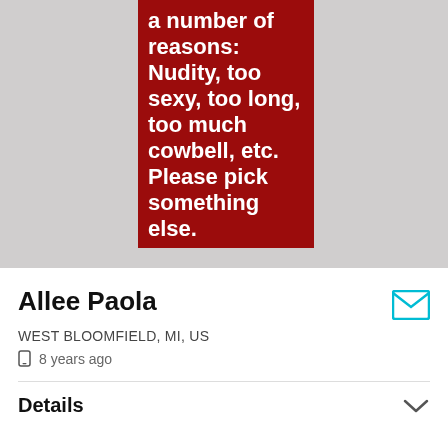[Figure (illustration): Red banner image with bold white text reading 'a number of reasons: Nudity, too sexy, too long, too much cowbell, etc. Please pick something else.' on a dark red background, positioned in the upper center of a gray area.]
Allee Paola
WEST BLOOMFIELD, MI, US
8 years ago
Details